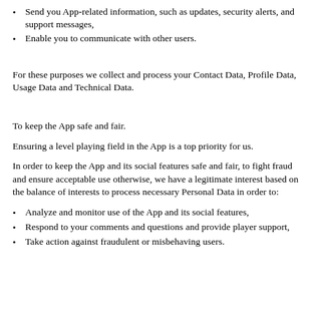Send you App-related information, such as updates, security alerts, and support messages,
Enable you to communicate with other users.
For these purposes we collect and process your Contact Data, Profile Data, Usage Data and Technical Data.
To keep the App safe and fair.
Ensuring a level playing field in the App is a top priority for us.
In order to keep the App and its social features safe and fair, to fight fraud and ensure acceptable use otherwise, we have a legitimate interest based on the balance of interests to process necessary Personal Data in order to:
Analyze and monitor use of the App and its social features,
Respond to your comments and questions and provide player support,
Take action against fraudulent or misbehaving users.